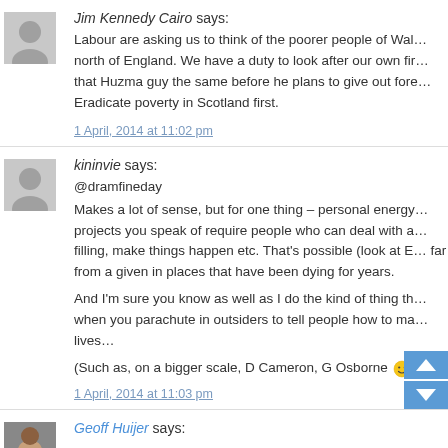Jim Kennedy Cairo says:
Labour are asking us to think of the poorer people of Wales and the north of England. We have a duty to look after our own first. I told that Huzma guy the same before he plans to give out foreign aid. Eradicate poverty in Scotland first.
1 April, 2014 at 11:02 pm
kininvie says:
@dramfineday
Makes a lot of sense, but for one thing – personal energy. The projects you speak of require people who can deal with a vacuum filling, make things happen etc. That's possible (look at E…) but far from a given in places that have been dying for years.
And I'm sure you know as well as I do the kind of thing that happens when you parachute in outsiders to tell people how to manage their lives…
(Such as, on a bigger scale, D Cameron, G Osborne 🙂 )
1 April, 2014 at 11:03 pm
Geoff Huijer says: